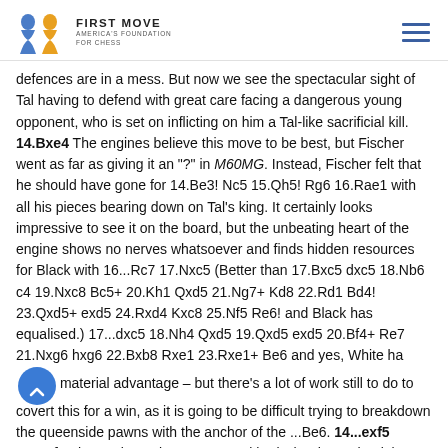FIRST MOVE AMERICA'S FOUNDATION FOR CHESS
defences are in a mess. But now we see the spectacular sight of Tal having to defend with great care facing a dangerous young opponent, who is set on inflicting on him a Tal-like sacrificial kill. 14.Bxe4 The engines believe this move to be best, but Fischer went as far as giving it an "?" in M60MG. Instead, Fischer felt that he should have gone for 14.Be3! Nc5 15.Qh5! Rg6 16.Rae1 with all his pieces bearing down on Tal's king. It certainly looks impressive to see it on the board, but the unbeating heart of the engine shows no nerves whatsoever and finds hidden resources for Black with 16...Rc7 17.Nxc5 (Better than 17.Bxc5 dxc5 18.Nb6 c4 19.Nxc8 Bc5+ 20.Kh1 Qxd5 21.Ng7+ Kd8 22.Rd1 Bd4! 23.Qxd5+ exd5 24.Rxd4 Kxc8 25.Nf5 Re6! and Black has equalised.) 17...dxc5 18.Nh4 Qxd5 19.Qxd5 exd5 20.Bf4+ Re7 21.Nxg6 hxg6 22.Bxb8 Rxe1 23.Rxe1+ Be6 and yes, White has material advantage – but there's a lot of work still to do to covert this for a win, as it is going to be difficult trying to breakdown the queenside pawns with the anchor of the ...Be6. 14...exf5 15.Bxf5 The engine at least agrees with Fischer here, that it is probably better to avoid exchanges and play 15.Bd5! 15...Re7! The reprieve allows Tal to